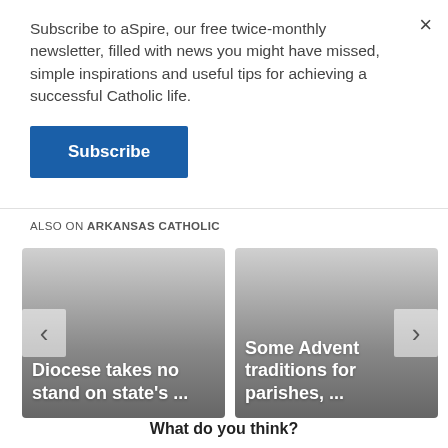Subscribe to aSpire, our free twice-monthly newsletter, filled with news you might have missed, simple inspirations and useful tips for achieving a successful Catholic life.
Subscribe
ALSO ON ARKANSAS CATHOLIC
[Figure (screenshot): Two article cards side by side. Left card shows 'Diocese takes no stand on state's ...' with navigation arrows. Right card shows 'Some Advent traditions for parishes, ...' with navigation arrow.]
What do you think?